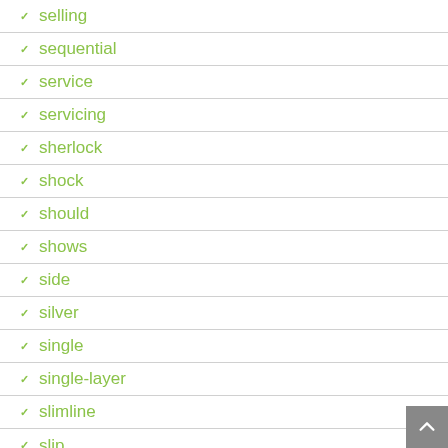selling
sequential
service
servicing
sherlock
shock
should
shows
side
silver
single
single-layer
slimline
slip